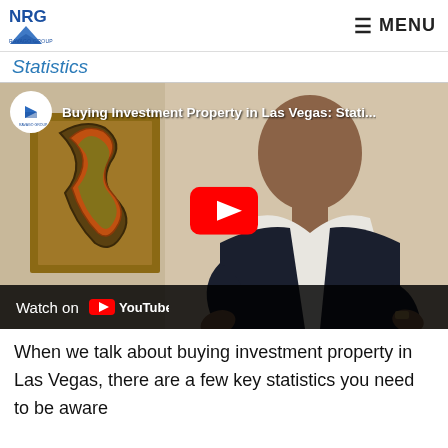NRG RAVAGO GROUP | MENU
Statistics
[Figure (screenshot): YouTube video thumbnail showing a man in a suit speaking, with a YouTube play button overlay. Video title: 'Buying Investment Property in Las Vegas: Stati...' with a RAVAGO GROUP channel logo. Bottom bar shows 'Watch on YouTube'.]
When we talk about buying investment property in Las Vegas, there are a few key statistics you need to be aware of...